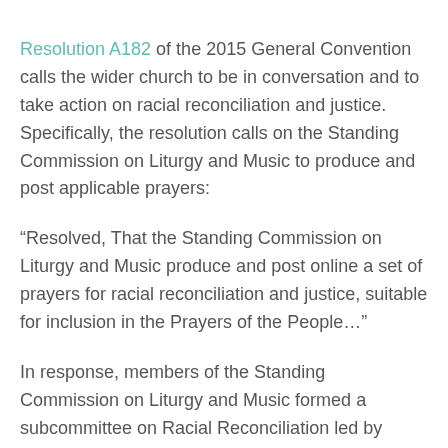Resolution A182 of the 2015 General Convention calls the wider church to be in conversation and to take action on racial reconciliation and justice. Specifically, the resolution calls on the Standing Commission on Liturgy and Music to produce and post applicable prayers:
“Resolved, That the Standing Commission on Liturgy and Music produce and post online a set of prayers for racial reconciliation and justice, suitable for inclusion in the Prayers of the People…”
In response, members of the Standing Commission on Liturgy and Music formed a subcommittee on Racial Reconciliation led by SCLM member Christopher Decatur. The subcommittee created four sets of Prayers of the People and a Litany of